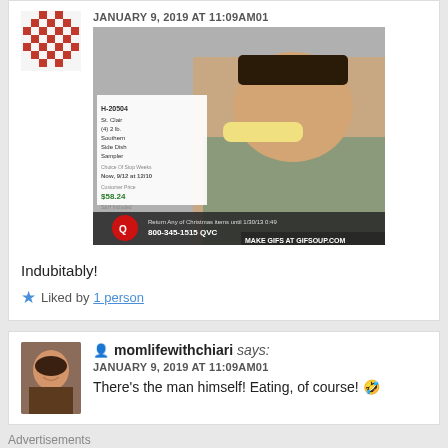JANUARY 9, 2019 AT 11:09AM01
[Figure (screenshot): Screenshot of a QVC product listing with a man eating food on TV. Shows product H-20504 St. Clair (4) 2 lb. Southern Side Dish Sampler. Price $58.24 S&H included. QVC logo with phone number 800-345-1515. Watermark: MAKE GIFS AT GIFSOUP.COM]
Indubitably!
Liked by 1 person
momlifewithchiari says:
JANUARY 9, 2019 AT 11:09AM01
There's the man himself! Eating, of course! 🤣
Advertisements